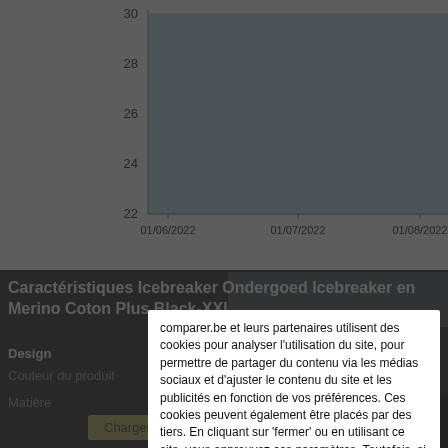[Figure (continuous-plot): A line/area chart showing price data over time from 01/06/2022 to 01/08/2022, with y-axis values from 22 to 30. The area is filled in light blue.]
comparer.be et leurs partenaires utilisent des cookies pour analyser l'utilisation du site, pour permettre de partager du contenu via les médias sociaux et d'ajuster le contenu du site et les publicités en fonction de vos préférences. Ces cookies peuvent également être placés par des tiers. En cliquant sur 'fermer' ou en utilisant ce site, vous approuvez ces paramètres. Toutefois, si vous ne souhaitez pas que les cookies soient stockés, vous pouvez modifier les paramètres de votre cookie à tout moment via le menu d'aide de votre navigateur. Vous trouverez plus d'informations sur l'utilisation des cookies ici .
Fermer
Caractéristiques Icebreaker Ondergoed Icebreaker en Merino Coton Plus Black-XXL
Design
| Propriété | Valeur |
| --- | --- |
| Couleur du produit | Noir |
| Matière | Polyester, Polyamide, Nylon, Elasthane, Viscose |
Chargement